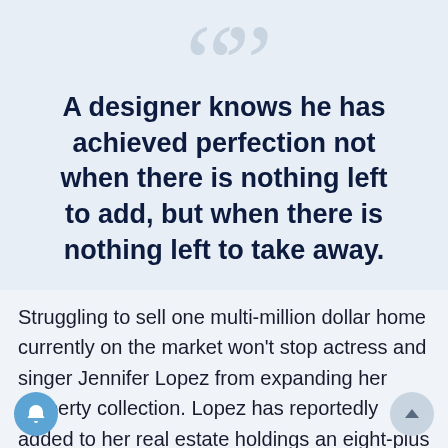A designer knows he has achieved perfection not when there is nothing left to add, but when there is nothing left to take away.
Struggling to sell one multi-million dollar home currently on the market won't stop actress and singer Jennifer Lopez from expanding her property collection. Lopez has reportedly added to her real estate holdings an eight-plus acre estate in Bel-Air anchored by a multi-level mansion.